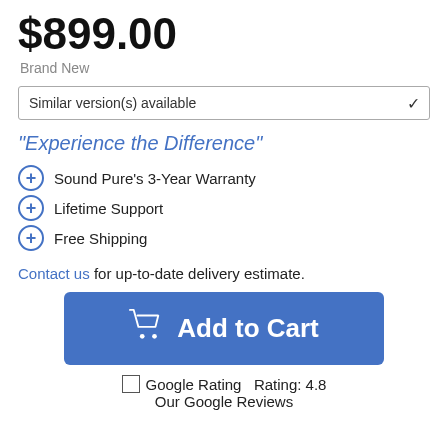$899.00
Brand New
Similar version(s) available
"Experience the Difference"
Sound Pure's 3-Year Warranty
Lifetime Support
Free Shipping
Contact us for up-to-date delivery estimate.
[Figure (other): Add to Cart button with shopping cart icon]
Google Rating  Rating: 4.8
Our Google Reviews